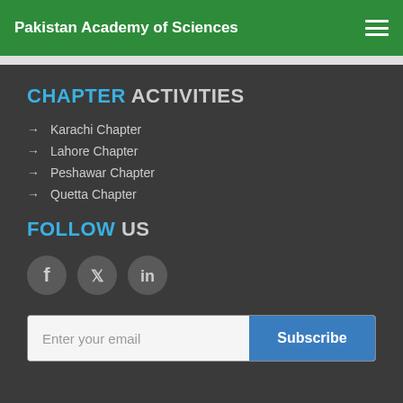Pakistan Academy of Sciences
CHAPTER ACTIVITIES
Karachi Chapter
Lahore Chapter
Peshawar Chapter
Quetta Chapter
FOLLOW US
[Figure (other): Social media icons: Facebook, Twitter, LinkedIn]
Enter your email / Subscribe